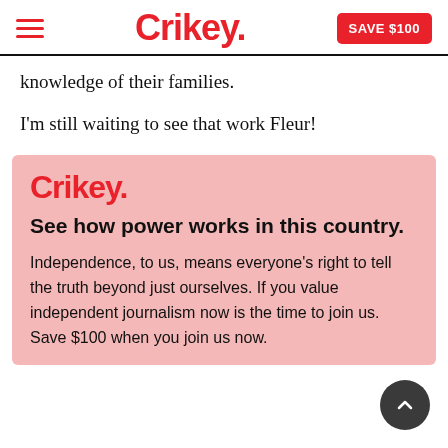Crikey. SAVE $100
knowledge of their families.
I'm still waiting to see that work Fleur!
[Figure (infographic): Crikey promotional box with logo, headline 'See how power works in this country.' and body text about independent journalism]
See how power works in this country.
Independence, to us, means everyone's right to tell the truth beyond just ourselves. If you value independent journalism now is the time to join us. Save $100 when you join us now.